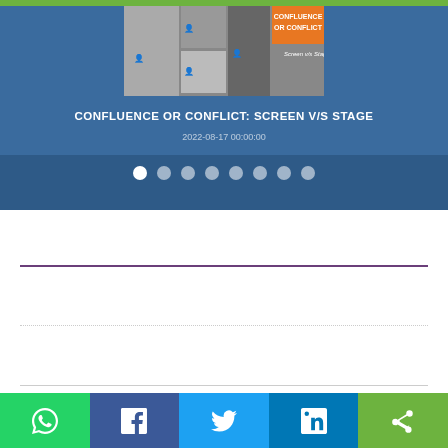[Figure (screenshot): Website screenshot showing a slideshow/carousel with a movie collage image and title 'CONFLUENCE OR CONFLICT: SCREEN V/S STAGE', dated 2022-08-17 00:00:00, with 8 navigation dots below]
CONFLUENCE OR CONFLICT: SCREEN V/S STAGE
2022-08-17 00:00:00
[Figure (infographic): Social sharing bar at the bottom with WhatsApp (green), Facebook (dark blue), Twitter (light blue), LinkedIn (blue), and Share (green) buttons]